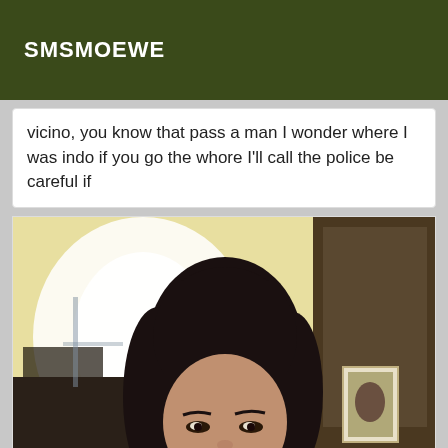SMSMOEWE
vicino, you know that pass a man I wonder where I was indo if you go the whore I'll call the police be careful if
[Figure (photo): A woman with long dark hair taking a selfie indoors. The room behind her shows furniture, a bright window on the left, and shelving/cabinets on the right with framed photos.]